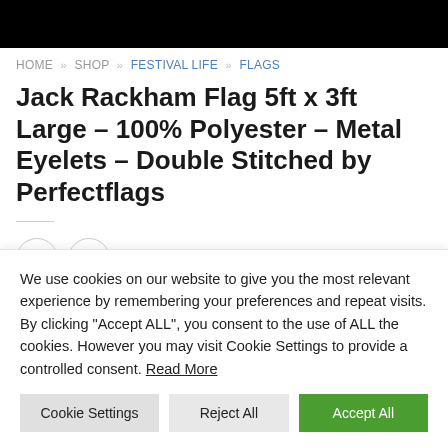HOME » SHOP » FESTIVAL LIFE » FLAGS
Jack Rackham Flag 5ft x 3ft Large – 100% Polyester – Metal Eyelets – Double Stitched by Perfectflags
£4.00
We use cookies on our website to give you the most relevant experience by remembering your preferences and repeat visits. By clicking "Accept ALL", you consent to the use of ALL the cookies. However you may visit Cookie Settings to provide a controlled consent. Read More
Cookie Settings | Reject All | Accept All